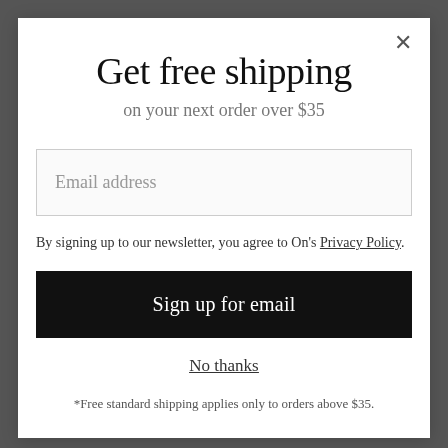Get free shipping
on your next order over $35
Email address
By signing up to our newsletter, you agree to On's Privacy Policy.
Sign up for email
No thanks
*Free standard shipping applies only to orders above $35.